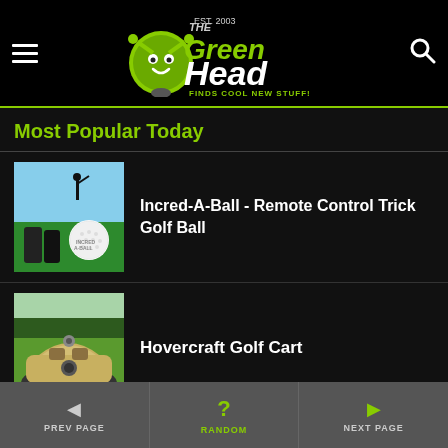The Green Head - Finds Cool New Stuff!
Most Popular Today
[Figure (photo): Product photo of Incred-A-Ball remote control trick golf ball with golf clubs on a green]
Incred-A-Ball - Remote Control Trick Golf Ball
[Figure (photo): Photo of a Hovercraft Golf Cart on a golf course green]
Hovercraft Golf Cart
PREV PAGE | RANDOM | NEXT PAGE